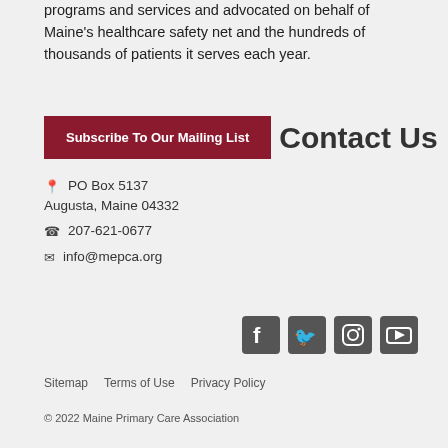programs and services and advocated on behalf of Maine's healthcare safety net and the hundreds of thousands of patients it serves each year.
Subscribe To Our Mailing List
Contact Us
PO Box 5137
Augusta, Maine 04332
207-621-0677
info@mepca.org
[Figure (infographic): Social media icons: Facebook, Twitter, Instagram, YouTube]
Sitemap   Terms of Use   Privacy Policy
© 2022 Maine Primary Care Association